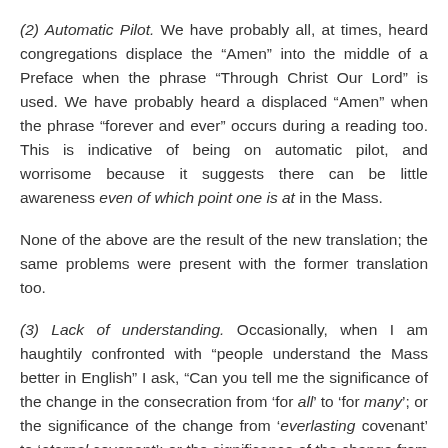(2) Automatic Pilot. We have probably all, at times, heard congregations displace the “Amen” into the middle of a Preface when the phrase “Through Christ Our Lord” is used. We have probably heard a displaced “Amen” when the phrase “forever and ever” occurs during a reading too. This is indicative of being on automatic pilot, and worrisome because it suggests there can be little awareness even of which point one is at in the Mass.
None of the above are the result of the new translation; the same problems were present with the former translation too.
(3) Lack of understanding. Occasionally, when I am haughtily confronted with “people understand the Mass better in English” I ask, “Can you tell me the significance of the change in the consecration from ‘for all’ to ‘for many’; or the significance of the change from ‘everlasting covenant’ to ‘eternal covenant’; or the significance of the change from ‘fountain’ to ‘fount’ in Eucharistic Prayer II? Can you tell me